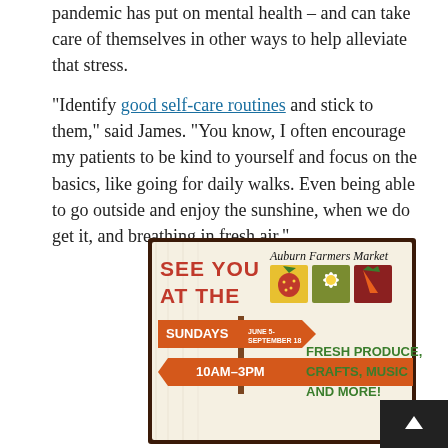pandemic has put on mental health – and can take care of themselves in other ways to help alleviate that stress.
"Identify good self-care routines and stick to them," said James. "You know, I often encourage my patients to be kind to yourself and focus on the basics, like going for daily walks. Even being able to go outside and enjoy the sunshine, when we do get it, and breathing in fresh air."
[Figure (illustration): Auburn Farmers Market promotional sign illustration with 'SEE YOU AT THE Auburn Farmers Market' text, icons of strawberry, daisy, and carrot, orange directional arrow signs reading 'SUNDAYS JUNE 5 - SEPTEMBER 18' and '10AM-3PM', and green text reading 'FRESH PRODUCE, CRAFTS, MUSIC AND MORE!']